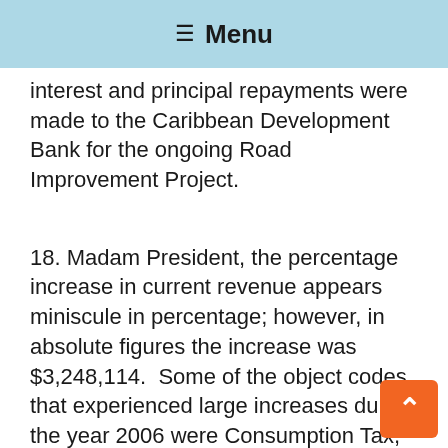☰ Menu
interest and principal repayments were made to the Caribbean Development Bank for the ongoing Road Improvement Project.
18. Madam President, the percentage increase in current revenue appears miniscule in percentage; however, in absolute figures the increase was $3,248,114.  Some of the object codes that experienced large increases during the year 2006 were Consumption Tax, Customs, increasing by $874,826;